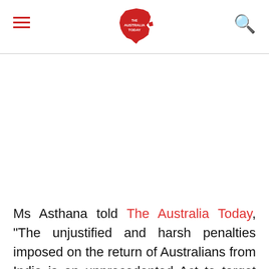The Australia Today
Ms Asthana told The Australia Today, “The unjustified and harsh penalties imposed on the return of Australians from India is an unprecedented Act to target particular